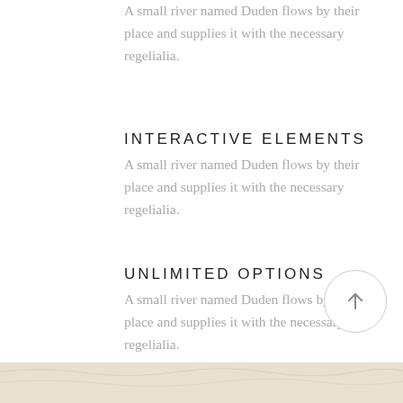A small river named Duden flows by their place and supplies it with the necessary regelialia.
INTERACTIVE ELEMENTS
A small river named Duden flows by their place and supplies it with the necessary regelialia.
UNLIMITED OPTIONS
A small river named Duden flows by their place and supplies it with the necessary regelialia.
[Figure (illustration): Circular scroll-to-top button with upward arrow icon]
[Figure (photo): Bottom decorative image strip with textured light-colored surface]